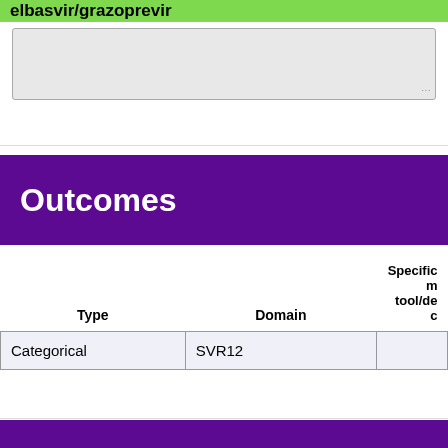elbasvir/grazoprevir
Outcomes
| Type | Domain | Specific m tool/de c |
| --- | --- | --- |
| Categorical | SVR12 |  |